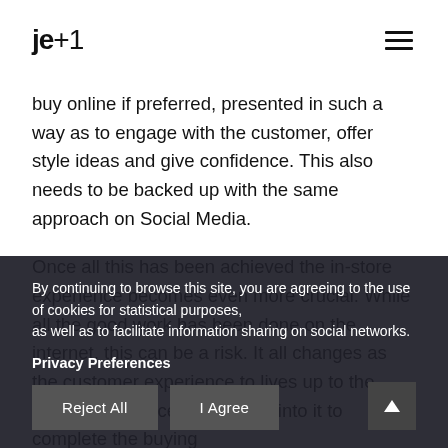[Figure (logo): je+1 logo in bold black text]
buy online if preferred, presented in such a way as to engage with the customer, offer style ideas and give confidence. This also needs to be backed up with the same approach on Social Media.
Once all this has been achieved the in-store experience becomes even more crucial. While all the good work has been done on the internet, this can be a risk. It all changes as the customer experience to lives up to the online experience and comes into it to complete the buying
By continuing to browse this site, you are agreeing to the use of cookies for statistical purposes, as well as to facilitate information sharing on social networks.
Privacy Preferences
Reject All
I Agree